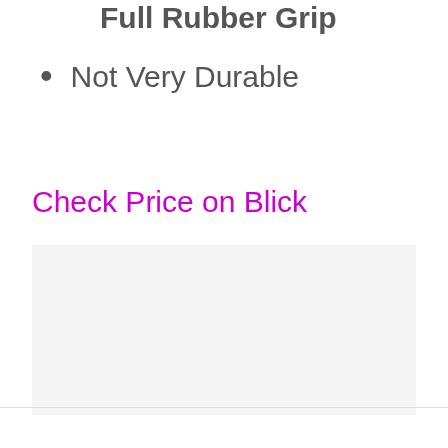Full Rubber Grip
Not Very Durable
Check Price on Blick
[Figure (other): Light gray placeholder image box]